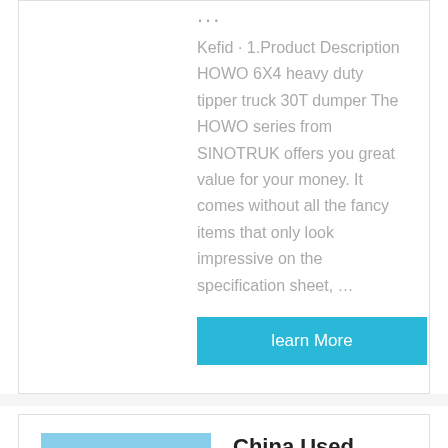...
Kefid · 1.Product Description HOWO 6X4 heavy duty tipper truck 30T dumper The HOWO series from SINOTRUK offers you great value for your money. It comes without all the fancy items that only look impressive on the specification sheet, …
learn More
[Figure (photo): Red Sinotruk HOWO heavy duty tipper/dump truck parked outdoors]
China Used Second Hand Sinotruk HOWO 40 Tons Tipper ...